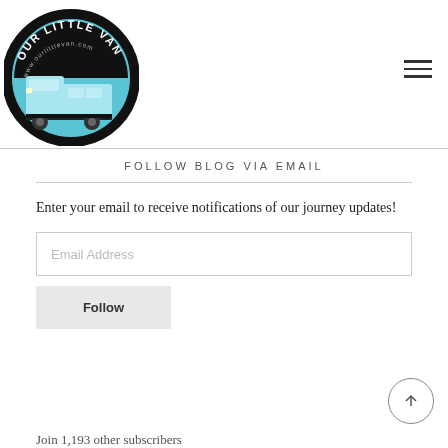[Figure (logo): Our Little Van circular logo with a van image and text 'OUR LITTLE VAN' and 'www.ourlittlevan.com' on a teal and black background]
FOLLOW BLOG VIA EMAIL
Enter your email to receive notifications of our journey updates!
Email Address
Follow
Join 1,193 other subscribers